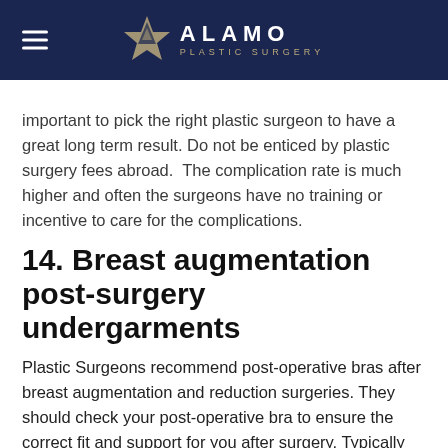ALAMO PLASTIC SURGERY
important to pick the right plastic surgeon to have a great long term result. Do not be enticed by plastic surgery fees abroad.  The complication rate is much higher and often the surgeons have no training or incentive to care for the complications.
14. Breast augmentation post-surgery undergarments
Plastic Surgeons recommend post-operative bras after breast augmentation and reduction surgeries. They should check your post-operative bra to ensure the correct fit and support for you after surgery. Typically you will wear this special post-op recovery bra for four